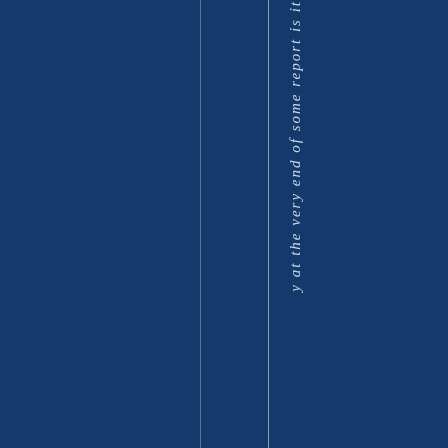[Figure (other): Dark navy blue cover page with two vertical lines and rotated italic text reading 'y at the very end of some report is it' running vertically down the right portion of the page]